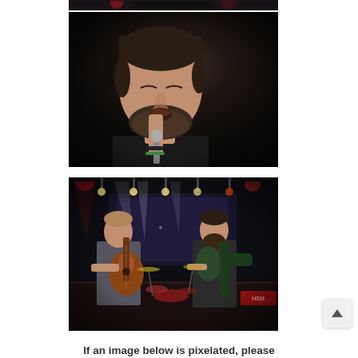[Figure (photo): Top sliver of a dark concert/performance photo, cropped at top of page]
[Figure (photo): Close-up photo of a bearded male singer with closed eyes holding a microphone close to his mouth, wearing a black shirt and wristband, dark background]
[Figure (photo): Concert stage photo showing two guitarists performing under colorful stage lights (red and white), with drum kit visible in background]
If an image below is pixelated, please